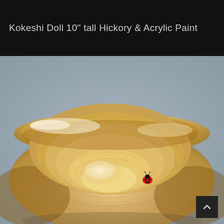Kokeshi Doll 10" tall Hickory & Acrylic Paint
[Figure (photo): A wooden turned bowl made from hickory wood viewed from slightly above, showing the smooth concentric grain rings on the interior. A small red ladybug with black spots sits inside the bowl near the bottom right. The bowl has a warm golden-brown color with darker grain lines. The background is light grey-blue.]